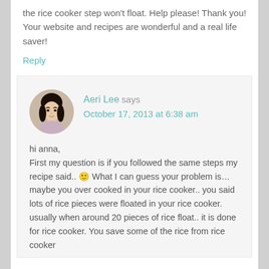the rice cooker step won't float. Help please! Thank you! Your website and recipes are wonderful and a real life saver!
Reply
[Figure (photo): Circular avatar photo of Aeri Lee, a woman with dark hair]
Aeri Lee says
October 17, 2013 at 6:38 am
hi anna,
First my question is if you followed the same steps my recipe said.. 🙂 What I can guess your problem is… maybe you over cooked in your rice cooker.. you said lots of rice pieces were floated in your rice cooker. usually when around 20 pieces of rice float.. it is done for rice cooker. You save some of the rice from rice cooker